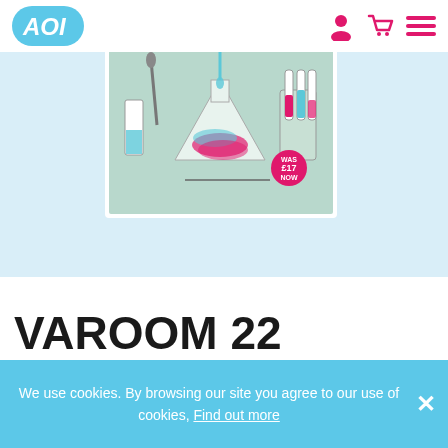[Figure (logo): AOI logo - white text on blue oval background]
[Figure (illustration): Science/laboratory themed illustration showing lab equipment, Erlenmeyer flask, test tubes, beakers with colorful liquids, on a light green background]
VAROOM 22 EXPERIMENT
We use cookies. By browsing our site you agree to our use of cookies, Find out more